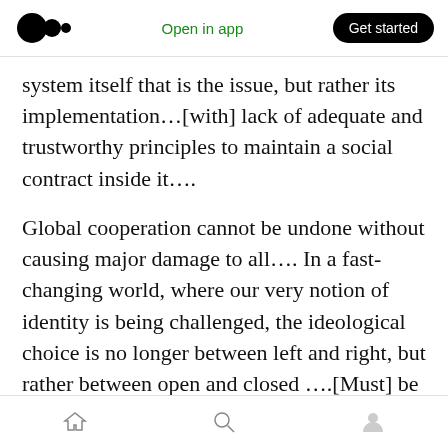Open in app | Get started
system itself that is the issue, but rather its implementation…[with] lack of adequate and trustworthy principles to maintain a social contract inside it….
Global cooperation cannot be undone without causing major damage to all…. In a fast-changing world, where our very notion of identity is being challenged, the ideological choice is no longer between left and right, but rather between open and closed ….[Must] be responsive to the grievances and anger…but also to move forward. Failure to do so will only result
Home | Search | Profile